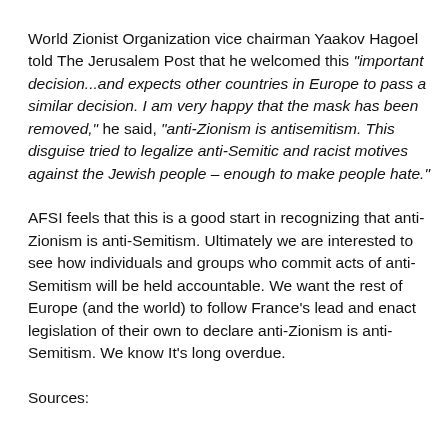World Zionist Organization vice chairman Yaakov Hagoel told The Jerusalem Post that he welcomed this "important decision...and expects other countries in Europe to pass a similar decision. I am very happy that the mask has been removed," he said, "anti-Zionism is antisemitism. This disguise tried to legalize anti-Semitic and racist motives against the Jewish people – enough to make people hate."
AFSI feels that this is a good start in recognizing that anti-Zionism is anti-Semitism. Ultimately we are interested to see how individuals and groups who commit acts of anti-Semitism will be held accountable. We want the rest of Europe (and the world) to follow France's lead and enact legislation of their own to declare anti-Zionism is anti-Semitism. We know It's long overdue.
Sources: